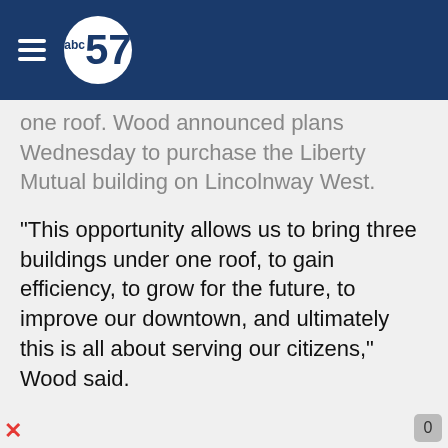abc57
one roof. Wood announced plans Wednesday to purchase the Liberty Mutual building on Lincolnway West.
“This opportunity allows us to bring three buildings under one roof, to gain efficiency, to grow for the future, to improve our downtown, and ultimately this is all about serving our citizens,” Wood said.
The Liberty Mutual building went up for sale in early 2019. Once it’s sold, employees will either be relocated or work from home.
Putting all of three major departments in one space will also open up more public parking spaces and bring the opportunity for more development downtown. All three buildings will have potential to be